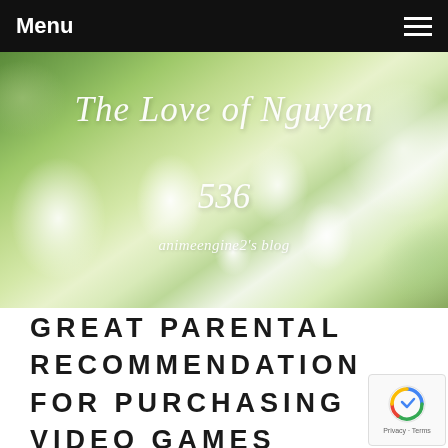Menu
[Figure (photo): Blurred green and white flowers background with italic cursive text overlaid: 'The Love of Nguyen 536' and 'animeengine2's blog']
The Love of Nguyen 536
animeengine2's blog
GREAT PARENTAL RECOMMENDATION FOR PURCHASING VIDEO GAMES